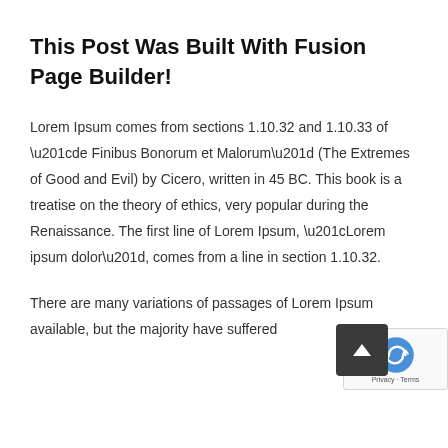This Post Was Built With Fusion Page Builder!
Lorem Ipsum comes from sections 1.10.32 and 1.10.33 of “de Finibus Bonorum et Malorum” (The Extremes of Good and Evil) by Cicero, written in 45 BC. This book is a treatise on the theory of ethics, very popular during the Renaissance. The first line of Lorem Ipsum, “Lorem ipsum dolor”, comes from a line in section 1.10.32.
There are many variations of passages of Lorem Ipsum available, but the majority have suffered